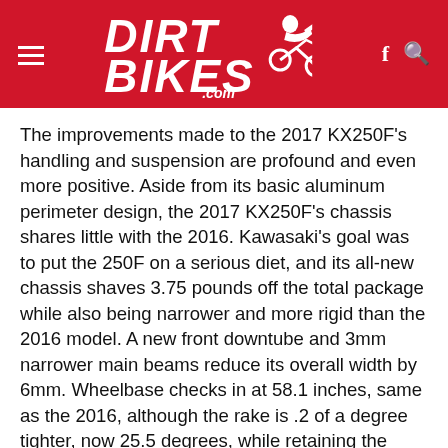Dirt Bikes .com
The improvements made to the 2017 KX250F's handling and suspension are profound and even more positive. Aside from its basic aluminum perimeter design, the 2017 KX250F's chassis shares little with the 2016. Kawasaki's goal was to put the 250F on a serious diet, and its all-new chassis shaves 3.75 pounds off the total package while also being narrower and more rigid than the 2016 model. A new front downtube and 3mm narrower main beams reduce its overall width by 6mm. Wheelbase checks in at 58.1 inches, same as the 2016, although the rake is .2 of a degree tighter, now 25.5 degrees, while retaining the same 5-inch trail as the 2016. On our scales, with its 1.69-gallon fuel tank filled to capacity, the KX250F weighed 233 pounds, placing 48.5 percent of its weight on the front wheel and 51.5 percent on the rear